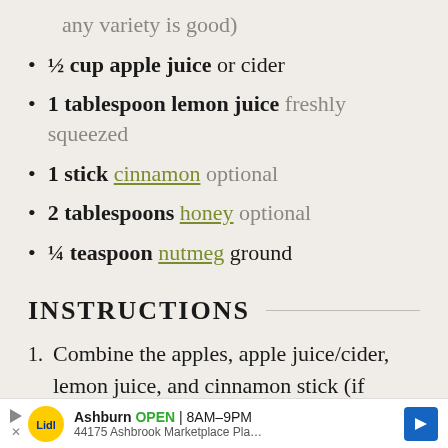any variety is good)
½ cup apple juice or cider
1 tablespoon lemon juice freshly squeezed
1 stick cinnamon optional
2 tablespoons honey optional
¼ teaspoon nutmeg ground
INSTRUCTIONS
Combine the apples, apple juice/cider, lemon juice, and cinnamon stick (if using) into a large pot. Cover and simmer for 20 – 25 minutes or until tender (but not mushy).
[Figure (other): Advertisement banner: Lidl store in Ashburn, OPEN 8AM–9PM, 44175 Ashbrook Marketplace Pla…]